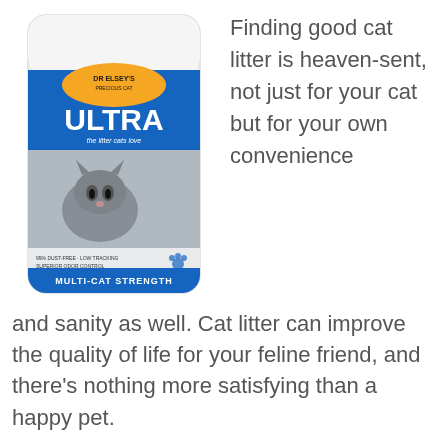[Figure (photo): Dr. Elsey's Ultra cat litter bag product photo — white bag with blue label, kitten photo, text 'ULTRA the litter cats love', '99% DUST-FREE - LOW TRACKING, SUPERIOR ODOR CONTROL, HARD CLUMPING, UNSCENTED - NATURAL INGREDIENTS', 'MULTI-CAT STRENGTH']
Finding good cat litter is heaven-sent, not just for your cat but for your own convenience and sanity as well. Cat litter can improve the quality of life for your feline friend, and there's nothing more satisfying than a happy pet.
Dr. Elsey's Precious Cat Ultra Premium Clumping Cat Litter is one of the